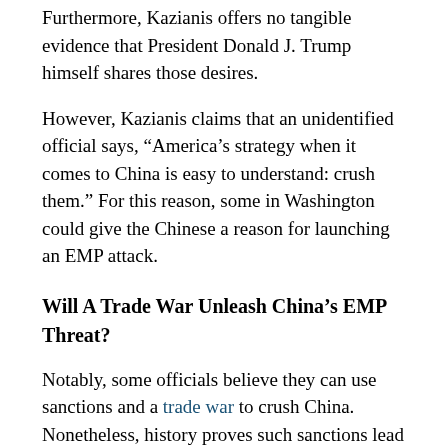Furthermore, Kazianis offers no tangible evidence that President Donald J. Trump himself shares those desires.
However, Kazianis claims that an unidentified official says, “America’s strategy when it comes to China is easy to understand: crush them.” For this reason, some in Washington could give the Chinese a reason for launching an EMP attack.
Will A Trade War Unleash China’s EMP Threat?
Notably, some officials believe they can use sanctions and a trade war to crush China. Nonetheless, history proves such sanctions lead to war. Similar sanctions ended up driving the Japanese to attack Pearl Harbor in 1941.
To explain further, President Franklin D. Roosevelt thought he could end Japanese aggression in Asia by blocking sales of raw materials to Japan. Instead of ending the aggression, the sanctions gave Japanese militarists a reason to attack